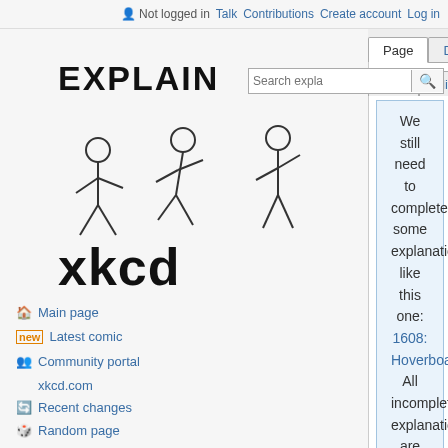Not logged in  Talk  Contributions  Create account  Log in
Page  Discussion  Read  Edit  Add topic  View  More  Search explainxkcd
[Figure (logo): Explain xkcd logo with stick figures]
Main page
Latest comic
Community portal
xkcd.com
Recent changes
Random page
All comics
Browse comics
RSS feed
We still need to complete some explanations like this one: 1608: Hoverboard. All incomplete explanations are here. Never use the Math markup language at the transcript. The reason for this you can read at the Editor FAQ.
Talk:1688: Map Age Guide
Explain xkcd: We issue regular...